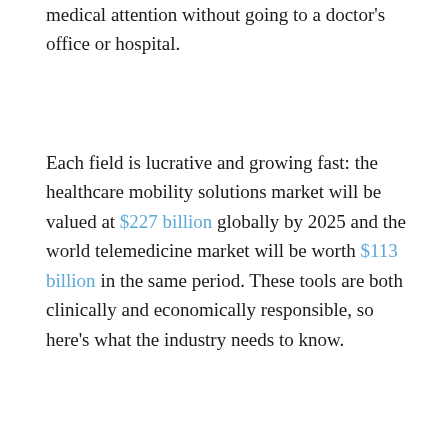medical attention without going to a doctor's office or hospital.
Each field is lucrative and growing fast: the healthcare mobility solutions market will be valued at $227 billion globally by 2025 and the world telemedicine market will be worth $113 billion in the same period. These tools are both clinically and economically responsible, so here's what the industry needs to know.